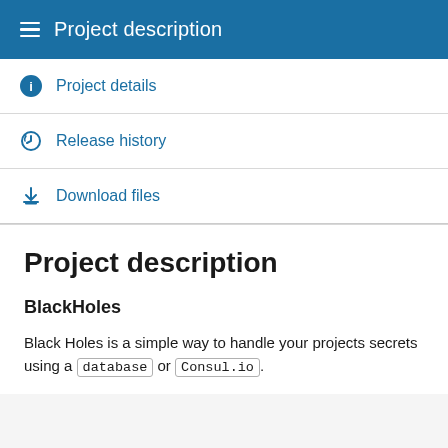Project description
Project details
Release history
Download files
Project description
BlackHoles
Black Holes is a simple way to handle your projects secrets using a database or Consul.io.